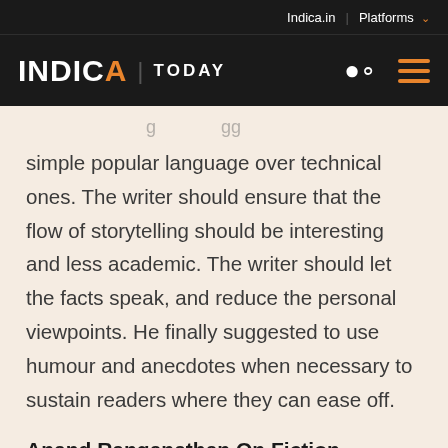Indica.in | Platforms
INDICA | TODAY
simple popular language over technical ones. The writer should ensure that the flow of storytelling should be interesting and less academic. The writer should let the facts speak, and reduce the personal viewpoints. He finally suggested to use humour and anecdotes when necessary to sustain readers where they can ease off.
Anand Ranganathan On Fiction